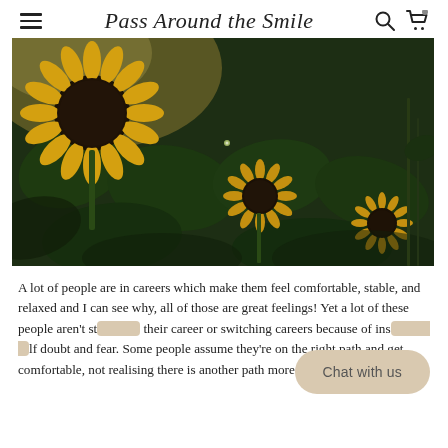Pass Around the Smile
[Figure (photo): A field of sunflowers with large dark green leaves, photographed in low/golden light. Several yellow sunflowers visible, one large bloom prominently in upper left.]
A lot of people are in careers which make them feel comfortable, stable, and relaxed and I can see why, all of those are great feelings! Yet a lot of these people aren't starting their career or switching careers because of insecurity, self doubt and fear. Some people assume they're on the right path and get comfortable, not realising there is another path more